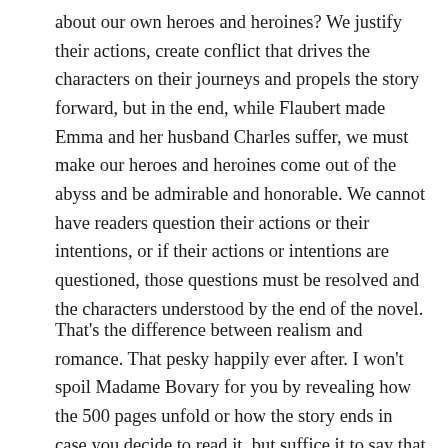about our own heroes and heroines? We justify their actions, create conflict that drives the characters on their journeys and propels the story forward, but in the end, while Flaubert made Emma and her husband Charles suffer, we must make our heroes and heroines come out of the abyss and be admirable and honorable. We cannot have readers question their actions or their intentions, or if their actions or intentions are questioned, those questions must be resolved and the characters understood by the end of the novel.
That's the difference between realism and romance. That pesky happily ever after. I won't spoil Madame Bovary for you by revealing how the 500 pages unfold or how the story ends in case you decide to read it, but suffice it to say that it's not your modern (or historical) romance with the afore mentioned HEA. In fact, it's widely purported to be one of the